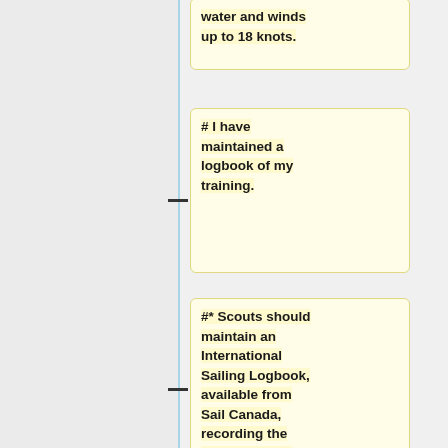water and winds up to 18 knots.
# I have maintained a logbook of my training.
#* Scouts should maintain an International Sailing Logbook, available from Sail Canada, recording the date, location, and personal reflection of recreational, training, and competitive sailing experiences.
# I have assisted